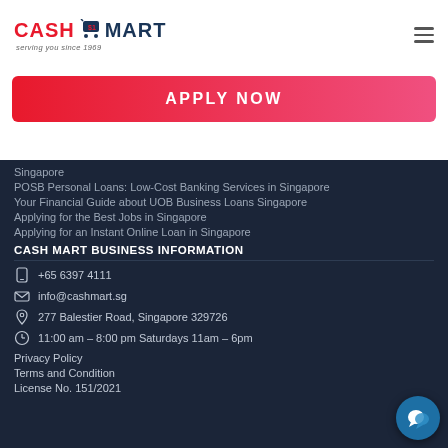CASH MART — serving you since 1969
APPLY NOW
Singapore
POSB Personal Loans: Low-Cost Banking Services in Singapore
Your Financial Guide about UOB Business Loans Singapore
Applying for the Best Jobs in Singapore
Applying for an Instant Online Loan in Singapore
CASH MART BUSINESS INFORMATION
+65 6397 4111
info@cashmart.sg
277 Balestier Road, Singapore 329726
11:00 am – 8:00 pm Saturdays 11am – 6pm
Privacy Policy
Terms and Condition
License No. 151/2021